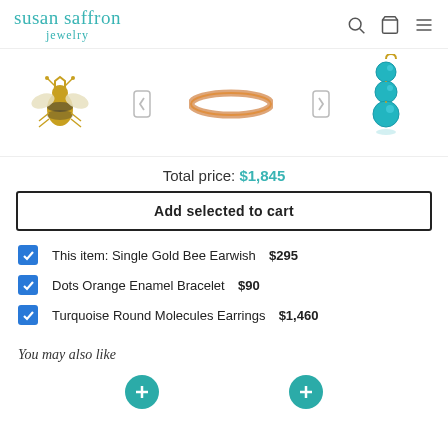susan saffron jewelry
[Figure (photo): Product images strip showing: gold bee earring charm, left navigation arrow, orange enamel bangle bracelet, right navigation arrow, and turquoise round molecules drop earrings]
Total price: $1,845
Add selected to cart
This item: Single Gold Bee Earwish  $295
Dots Orange Enamel Bracelet  $90
Turquoise Round Molecules Earrings  $1,460
You may also like